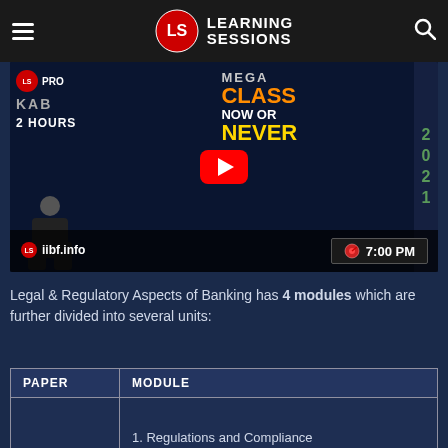Learning Sessions
[Figure (screenshot): Video thumbnail for a 2-hour IIBF JAIIB Mega Class 'Now or Never 2021' at 7:00 PM on iibf.info with YouTube play button]
Legal & Regulatory Aspects of Banking has 4 modules which are further divided into several units:
| PAPER | MODULE |
| --- | --- |
|  | 1. Regulations and Compliance |